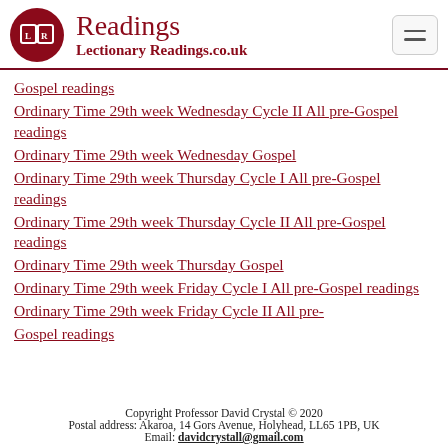Readings — LectionaryReadings.co.uk
Gospel readings
Ordinary Time 29th week Wednesday Cycle II All pre-Gospel readings
Ordinary Time 29th week Wednesday Gospel
Ordinary Time 29th week Thursday Cycle I All pre-Gospel readings
Ordinary Time 29th week Thursday Cycle II All pre-Gospel readings
Ordinary Time 29th week Thursday Gospel
Ordinary Time 29th week Friday Cycle I All pre-Gospel readings
Ordinary Time 29th week Friday Cycle II All pre-Gospel readings
Copyright Professor David Crystal © 2020
Postal address: Akaroa, 14 Gors Avenue, Holyhead, LL65 1PB, UK
Email: davidcrystall@gmail.com